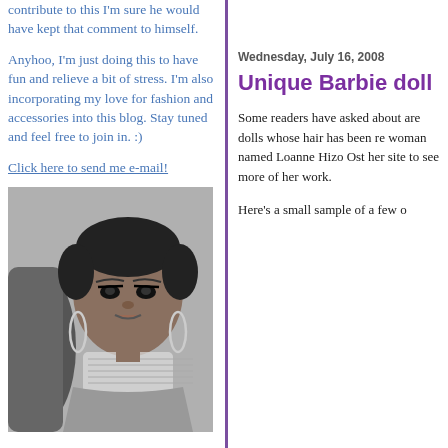contribute to this I'm sure he would have kept that comment to himself.
Anyhoo, I'm just doing this to have fun and relieve a bit of stress. I'm also incorporating my love for fashion and accessories into this blog. Stay tuned and feel free to join in. :)
Click here to send me e-mail!
[Figure (photo): Black and white photo of a Barbie doll with short hair and large earrings, shown in close-up.]
Wednesday, July 16, 2008
Unique Barbie doll
Some readers have asked about are dolls whose hair has been re woman named Loanne Hizo Ost her site to see more of her work.
Here's a small sample of a few o